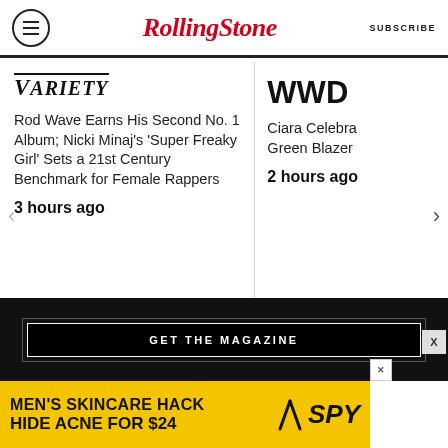RollingStone — SUBSCRIBE
[Figure (logo): Variety logo (italic serif)]
Rod Wave Earns His Second No. 1 Album; Nicki Minaj's 'Super Freaky Girl' Sets a 21st Century Benchmark for Female Rappers
3 hours ago
[Figure (logo): WWD logo (bold sans-serif)]
Ciara Celebra Green Blazer
2 hours ago
GET THE MAGAZINE
[Figure (infographic): Advertisement banner: MEN'S SKINCARE HACK HIDE ACNE FOR $24 — SPY]